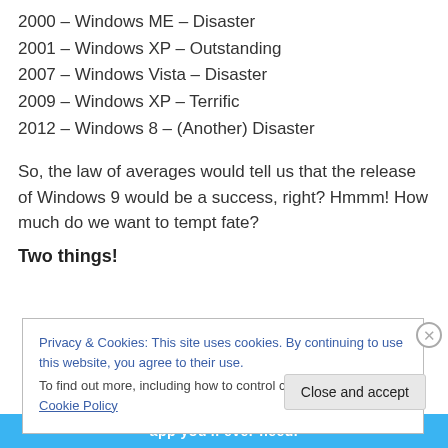2000 – Windows ME – Disaster
2001 – Windows XP – Outstanding
2007 – Windows Vista – Disaster
2009 – Windows XP – Terrific
2012 – Windows 8 – (Another) Disaster
So, the law of averages would tell us that the release of Windows 9 would be a success, right? Hmmm! How much do we want to tempt fate?
Two things!
Privacy & Cookies: This site uses cookies. By continuing to use this website, you agree to their use.
To find out more, including how to control cookies, see here: Cookie Policy